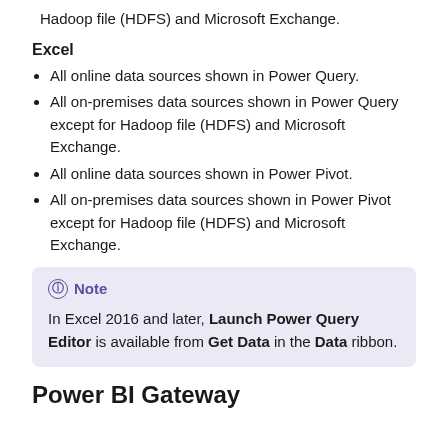Hadoop file (HDFS) and Microsoft Exchange.
Excel
All online data sources shown in Power Query.
All on-premises data sources shown in Power Query except for Hadoop file (HDFS) and Microsoft Exchange.
All online data sources shown in Power Pivot.
All on-premises data sources shown in Power Pivot except for Hadoop file (HDFS) and Microsoft Exchange.
Note
In Excel 2016 and later, Launch Power Query Editor is available from Get Data in the Data ribbon.
Power BI Gateway